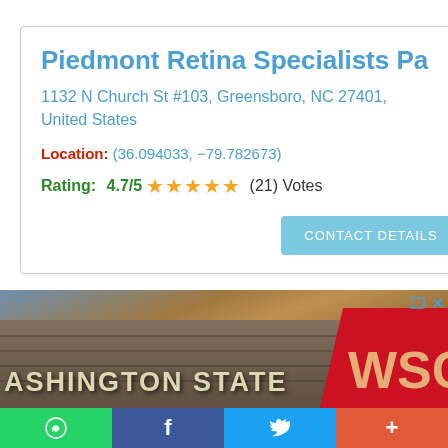Piedmont Retina Specialists Pa
1132 N Church St #103, Greensboro, NC 27401, United States
Location: (36.094033, -79.782673)
Rating: 4.7/5 ★★★★★ (21) Votes
[Figure (photo): Washington State University sign with stone wall and WSU Cougar logo on red background, photographed at dusk/sunset]
[Figure (infographic): Social media sharing bar with WhatsApp (green), Facebook (dark blue), Twitter (light blue), and More (orange-red) buttons]